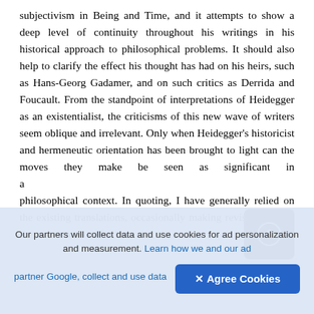subjectivism in Being and Time, and it attempts to show a deep level of continuity throughout his writings in his historical approach to philosophical problems. It should also help to clarify the effect his thought has had on his heirs, such as Hans-Georg Gadamer, and on such critics as Derrida and Foucault. From the standpoint of interpretations of Heidegger as an existentialist, the criticisms of this new wave of writers seem oblique and irrelevant. Only when Heidegger's historicist and hermeneutic orientation has been brought to light can the moves they make be seen as significant in a philosophical context. In quoting, I have generally relied on the existing translations, occasionally making revisions where there are errors or for the
Our partners will collect data and use cookies for ad personalization and measurement. Learn how we and our ad partner Google, collect and use data